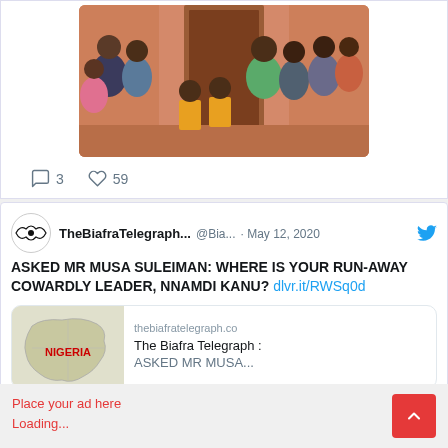[Figure (photo): Group of people gathered inside a building with pink/orange walls and a doorway. Multiple adults and children visible.]
3  59
[Figure (screenshot): Twitter/X post by TheBiafraTelegraph (@Bia...) dated May 12, 2020. Text: ASKED MR MUSA SULEIMAN: WHERE IS YOUR RUN-AWAY COWARDLY LEADER, NNAMDI KANU? dlvr.it/RWSq0d. With link preview showing Nigeria map and thebiafratelegraph.co]
Place your ad here
Loading...